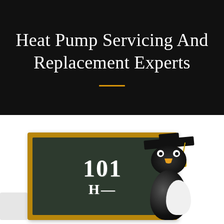Heat Pump Servicing And Replacement Experts
[Figure (illustration): Cartoon penguin wearing a graduation cap standing next to a chalkboard showing '101' and partial text below. A small grey box appears in the lower left corner.]